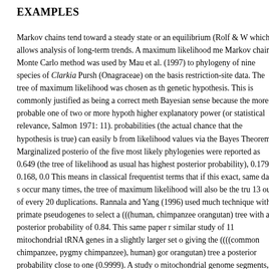EXAMPLES
Markov chains tend toward a steady state or an equilibrium (Rolf & W which allows analysis of long-term trends. A maximum likelihood me Markov chain Monte Carlo method was used by Mau et al. (1997) to phylogeny of nine species of Clarkia Pursh (Onagraceae) on the basis restriction-site data. The tree of maximum likelihood was chosen as th genetic hypothesis. This is commonly justified as being a correct meth Bayesian sense because the more probable one of two or more hypoth higher explanatory power (or statistical relevance, Salmon 1971: 11). probabilities (the actual chance that the hypothesis is true) can easily b from likelihood values via the Bayes Theorem. Marginalized posterio of the five most likely phylogenies were reported as 0.649 (the tree of likelihood as usual has highest posterior probability), 0.179, 0.168, 0.0 This means in classical frequentist terms that if this exact, same data s occur many times, the tree of maximum likelihood will also be the tru 13 out of every 20 duplications. Rannala and Yang (1996) used much technique with primate pseudogenes to select a (((human, chimpanzee orangutan) tree with a posterior probability of 0.84. This same paper r similar study of 11 mitochondrial tRNA genes in a slightly larger set o giving the ((((common chimpanzee, pygmy chimpanzee), human) gor orangutan) tree a posterior probability close to one (0.9999). A study o mitochondrial genome segments, being "parts of two protein-coding g three tRNA genes," by Yang and Rannala (1997) found a high posteri for nine primates: (((((human, chimpanzee) gorilla) orangutan) gibb